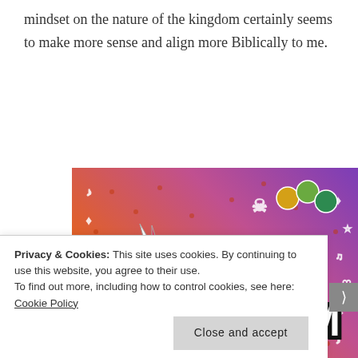mindset on the nature of the kingdom certainly seems to make more sense and align more Biblically to me.
[Figure (illustration): Colorful promotional image for 'Fandom on Tumblr' with orange-to-purple gradient background, white doodle icons (skull, sailboat, music notes, arrows, hearts, dice), and bold text reading FANDOM ON tumblr. Bottom has colorful characters including octopus and green leaf creature.]
Privacy & Cookies: This site uses cookies. By continuing to use this website, you agree to their use. To find out more, including how to control cookies, see here: Cookie Policy
Close and accept